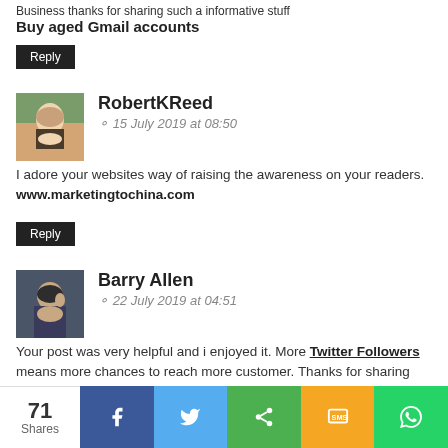Business thanks for sharing such a informative stuff
Buy aged Gmail accounts
Reply
RobertKReed
15 July 2019 at 08:50
I adore your websites way of raising the awareness on your readers. www.marketingtochina.com
Reply
Barry Allen
22 July 2019 at 04:51
Your post was very helpful and i enjoyed it. More Twitter Followers means more chances to reach more customer. Thanks for sharing this.
Reply
pvagmail
71 Shares